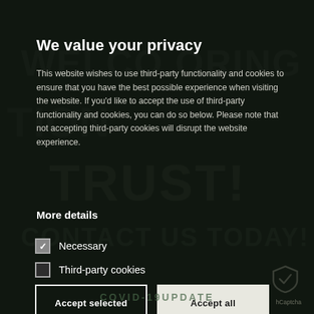We value your privacy
This website wishes to use third-party functionality and cookies to ensure that you have the best possible experience when visiting the website. If you'd like to accept the use of third-party functionality and cookies, you can do so below. Please note that not accepting third-party cookies will disrupt the website experience.
More details
Necessary
Third-party cookies
Accept selected
Accept all
COVID-19UPDATE
hCaptcha